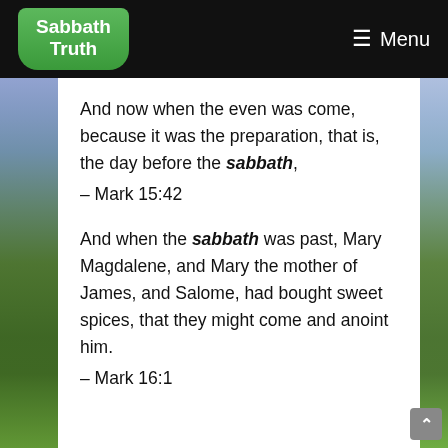Sabbath Truth  ≡ Menu
And now when the even was come, because it was the preparation, that is, the day before the sabbath,
– Mark 15:42
And when the sabbath was past, Mary Magdalene, and Mary the mother of James, and Salome, had bought sweet spices, that they might come and anoint him.
– Mark 16:1